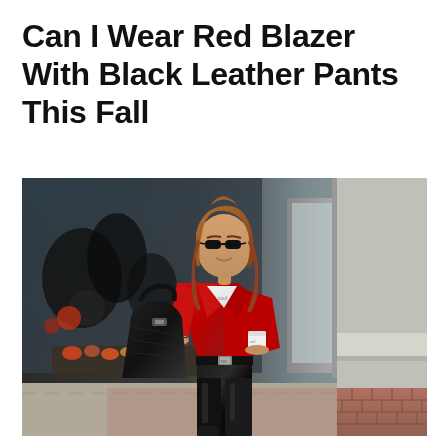Can I Wear Red Blazer With Black Leather Pants This Fall
[Figure (photo): A woman standing outdoors in front of a store, wearing a red blazer over a white t-shirt, black leather pants with a Gucci belt, and carrying a black handbag. She is wearing sunglasses. The background shows a large glass storefront with decorative elements and brick walls.]